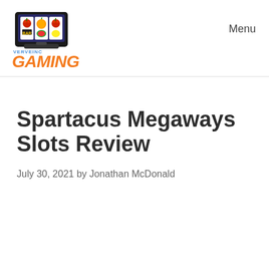[Figure (logo): Verveinc Gaming logo with slot machine graphic and orange GAMING text]
Menu
Spartacus Megaways Slots Review
July 30, 2021 by Jonathan McDonald